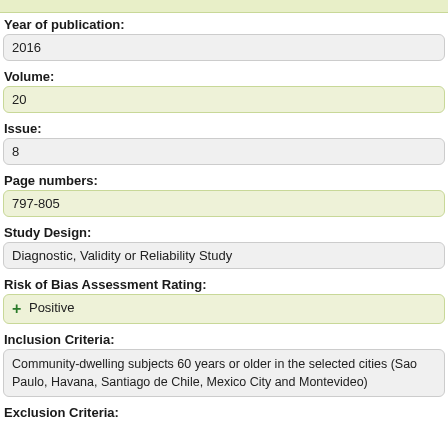Year of publication:
2016
Volume:
20
Issue:
8
Page numbers:
797-805
Study Design:
Diagnostic, Validity or Reliability Study
Risk of Bias Assessment Rating:
+ Positive
Inclusion Criteria:
Community-dwelling subjects 60 years or older in the selected cities (Sao Paulo, Havana, Santiago de Chile, Mexico City and Montevideo)
Exclusion Criteria: